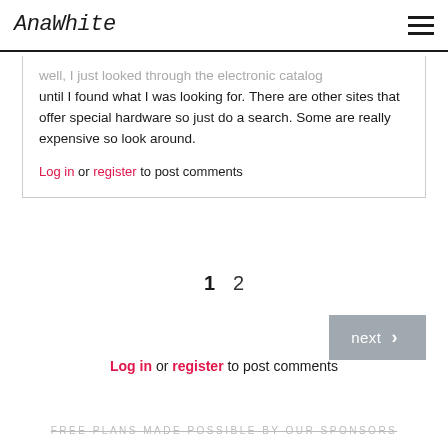AnaWhite
well, I just looked through the electronic catalog until I found what I was looking for. There are other sites that offer special hardware so just do a search. Some are really expensive so look around.
Log in or register to post comments
1  2
next >
Log in or register to post comments
FREE PLANS MADE POSSIBLE BY OUR SPONSORS